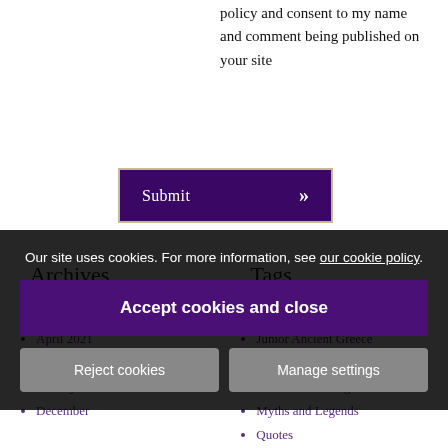policy and consent to my name and comment being published on your site
Submit »
Archives
Tags
June 2021
April 2021
Junior Ancient Egypt
Junior Ancient Greece
February 2021
January 2021
December
Junior Middle Ages
Junior The Vikings
Myths and Legends
Quotes
Our site uses cookies. For more information, see our cookie policy.
Accept cookies and close
Reject cookies
Manage settings